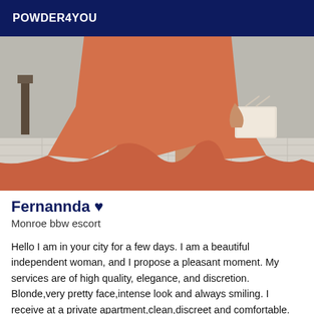POWDER4YOU
[Figure (photo): Photo of a woman in an orange/coral ruffled skirt dress holding a white bag, standing on light tile floor]
Fernannda ♥
Monroe bbw escort
Hello I am in your city for a few days. I am a beautiful independent woman, and I propose a pleasant moment. My services are of high quality, elegance, and discretion. Blonde,very pretty face,intense look and always smiling. I receive at a private apartment,clean,discreet and comfortable. Your satisfaction is very important to me. I